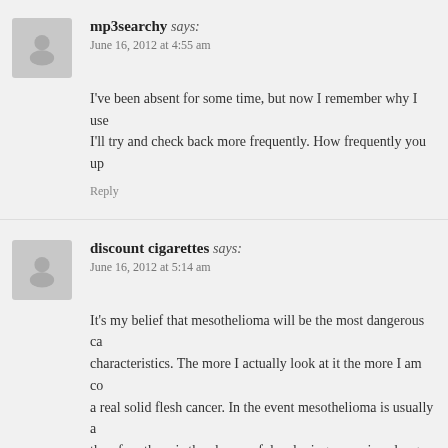mp3searchy says: June 16, 2012 at 4:55 am
I've been absent for some time, but now I remember why I use I'll try and check back more frequently. How frequently you up
Reply
discount cigarettes says: June 16, 2012 at 5:14 am
It's my belief that mesothelioma will be the most dangerous ca characteristics. The more I actually look at it the more I am co a real solid flesh cancer. In the event mesothelioma is usually a therefore there is the chance of developing a vaccine along wit asbestos open people who are open to high risk involving deve connected malignancies. Thanks for expressing your ideas for t
Reply